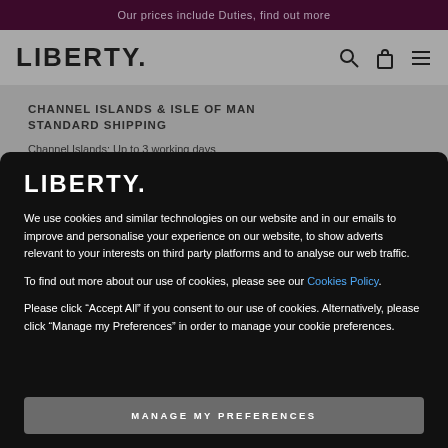Our prices include Duties, find out more
LIBERTY.
CHANNEL ISLANDS & ISLE OF MAN STANDARD SHIPPING
Channel Islands: Up to 3 working days
Isle of Man: Up to 11 working days
LIBERTY.
We use cookies and similar technologies on our website and in our emails to improve and personalise your experience on our website, to show adverts relevant to your interests on third party platforms and to analyse our web traffic.
To find out more about our use of cookies, please see our Cookies Policy.
Please click “Accept All” if you consent to our use of cookies. Alternatively, please click “Manage my Preferences” in order to manage your cookie preferences.
MANAGE MY PREFERENCES